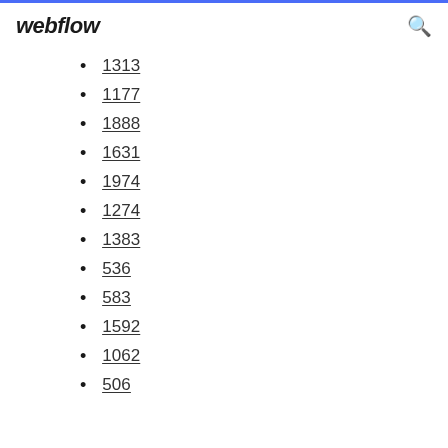webflow
1313
1177
1888
1631
1974
1274
1383
536
583
1592
1062
506